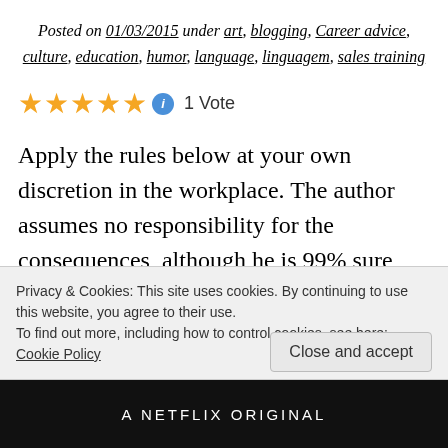Posted on 01/03/2015 under art, blogging, Career advice, culture, education, humor, language, linguagem, sales training
[Figure (other): Five gold stars rating with blue info icon and '1 Vote' text]
Apply the rules below at your own discretion in the workplace. The author assumes no responsibility for the consequences, although he is 99% sure they will
Privacy & Cookies: This site uses cookies. By continuing to use this website, you agree to their use.
To find out more, including how to control cookies, see here: Cookie Policy
Close and accept
A NETFLIX ORIGINAL